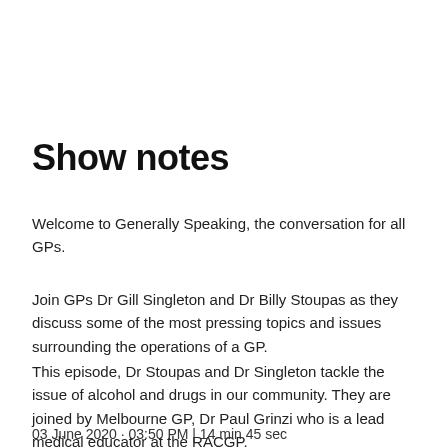Show notes
Welcome to Generally Speaking, the conversation for all GPs.
Join GPs Dr Gill Singleton and Dr Billy Stoupas as they discuss some of the most pressing topics and issues surrounding the operations of a GP.
This episode, Dr Stoupas and Dr Singleton tackle the issue of alcohol and drugs in our community. They are joined by Melbourne GP, Dr Paul Grinzi who is a lead medical educator at the RACGP.
03 June 2020 · 03:50 PM | 14 min 45 sec